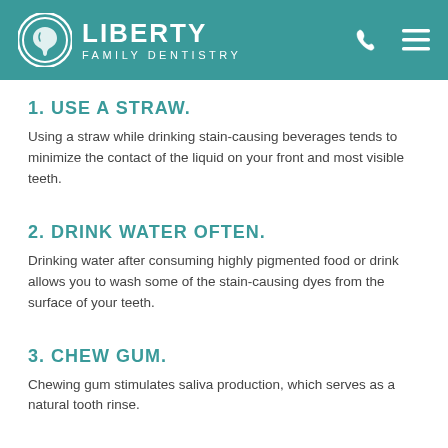LIBERTY FAMILY DENTISTRY
1. USE A STRAW.
Using a straw while drinking stain-causing beverages tends to minimize the contact of the liquid on your front and most visible teeth.
2. DRINK WATER OFTEN.
Drinking water after consuming highly pigmented food or drink allows you to wash some of the stain-causing dyes from the surface of your teeth.
3. CHEW GUM.
Chewing gum stimulates saliva production, which serves as a natural tooth rinse.